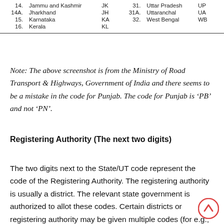| No. | State/UT | Code | No. | State/UT | Code |
| --- | --- | --- | --- | --- | --- |
| 14. | Jammu and Kashmir | JK | 31. | Uttar Pradesh | UP |
| 14A. | Jharkhand | JH | 31A. | Uttaranchal | UA |
| 15. | Karnataka | KA | 32. | West Bengal | WB |
| 16. | Kerala | KL |  |  |  |
Note: The above screenshot is from the Ministry of Road Transport & Highways, Government of India and there seems to be a mistake in the code for Punjab. The code for Punjab is 'PB' and not 'PN'.
Registering Authority (The next two digits)
The two digits next to the State/UT code represent the code of the Registering Authority. The registering authority is usually a district. The relevant state government is authorized to allot these codes. Certain districts or registering authority may be given multiple codes (for e.g., capital cities, metros etc), since a large